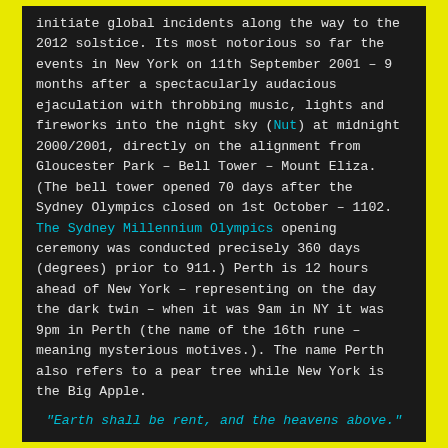initiate global incidents along the way to the 2012 solstice. Its most notorious so far the events in New York on 11th September 2001 – 9 months after a spectacularly audacious ejaculation with throbbing music, lights and fireworks into the night sky (Nut) at midnight 2000/2001, directly on the alignment from Gloucester Park – Bell Tower – Mount Eliza. (The bell tower opened 70 days after the Sydney Olympics closed on 1st October – 1102. The Sydney Millennium Olympics opening ceremony was conducted precisely 360 days (degrees) prior to 911.) Perth is 12 hours ahead of New York – representing on the day the dark twin – when it was 9am in NY it was 9pm in Perth (the name of the 16th rune – meaning mysterious motives.). The name Perth also refers to a pear tree while New York is the Big Apple.
“Earth shall be rent, and the heavens above.”